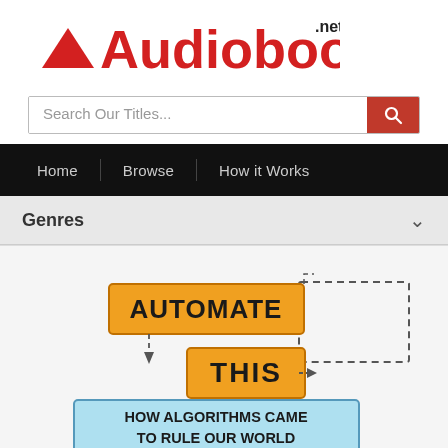[Figure (logo): Audiobooks.net logo with red triangle and red text]
Search Our Titles...
Home | Browse | How it Works
Genres
[Figure (illustration): Book cover for 'Automate This: How Algorithms Came to Rule Our World' by Christopher, shown as a flowchart-style graphic with orange and blue boxes connected by dashed arrows]